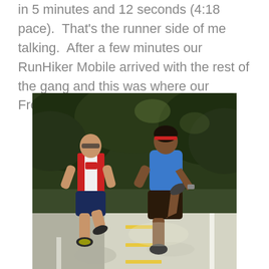in 5 minutes and 12 seconds (4:18 pace).  That's the runner side of me talking.  After a few minutes our RunHiker Mobile arrived with the rest of the gang and this was where our Freedom Climb adventure began.
[Figure (photo): Two runners seen from behind, running on a road. The left runner wears a white North Face running vest and dark blue shorts. The right runner wears a blue t-shirt and dark brown shorts with a red headband. They are running on a paved road with yellow and white lane markings, surrounded by green trees in the background.]